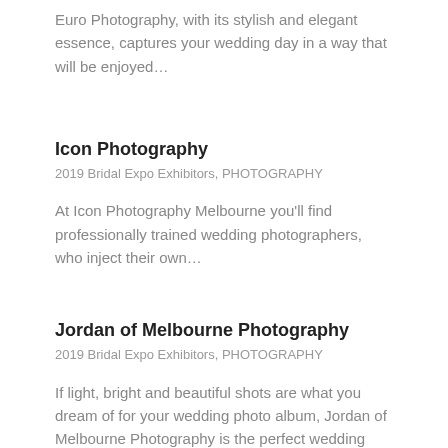Euro Photography, with its stylish and elegant essence, captures your wedding day in a way that will be enjoyed…
Icon Photography
2019 Bridal Expo Exhibitors, PHOTOGRAPHY
At Icon Photography Melbourne you'll find professionally trained wedding photographers, who inject their own…
Jordan of Melbourne Photography
2019 Bridal Expo Exhibitors, PHOTOGRAPHY
If light, bright and beautiful shots are what you dream of for your wedding photo album, Jordan of Melbourne Photography is the perfect wedding photographer for